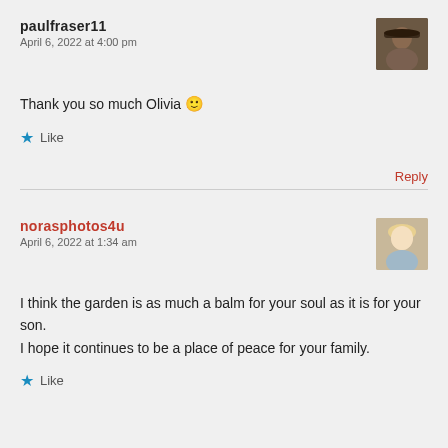paulfraser11
April 6, 2022 at 4:00 pm
[Figure (photo): Avatar of paulfraser11, a person wearing a hat]
Thank you so much Olivia 🙂
Like
Reply
norasphotos4u
April 6, 2022 at 1:34 am
[Figure (photo): Avatar of norasphotos4u, a blonde woman]
I think the garden is as much a balm for your soul as it is for your son. I hope it continues to be a place of peace for your family.
Like